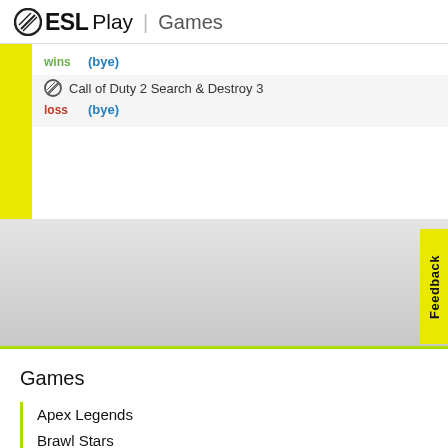ESL Play | Games
wins (bye)
Call of Duty 2 Search & Destroy 3
loss (bye)
[Figure (screenshot): ESL Play games page screenshot showing match bracket area with wins/loss bye entries, grey gradient area, green horizontal line, yellow feedback button on right side]
Games
Apex Legends
Brawl Stars
BlazBlue: CTB
Call of Duty
Clash of Clans